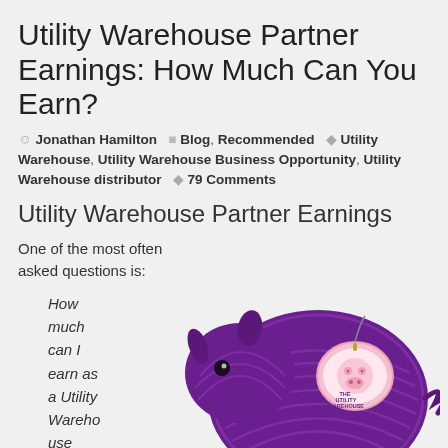Utility Warehouse Partner Earnings: How Much Can You Earn?
Jonathan Hamilton  Blog, Recommended  Utility Warehouse, Utility Warehouse Business Opportunity, Utility Warehouse distributor  79 Comments
Utility Warehouse Partner Earnings
One of the most often asked questions is:
How much can I earn as a Utility Warehouse
[Figure (photo): A purple plush rhinoceros toy with a Utility Warehouse branded pink piggy bank tag attached to its back.]